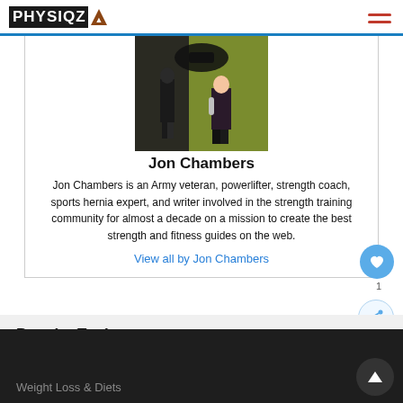PHYSIQZ
[Figure (photo): A person doing a weightlifting exercise in a gym with a barbell overhead]
Jon Chambers
Jon Chambers is an Army veteran, powerlifter, strength coach, sports hernia expert, and writer involved in the strength training community for almost a decade on a mission to create the best strength and fitness guides on the web.
View all by Jon Chambers
Popular Topics
Weight Loss & Diets